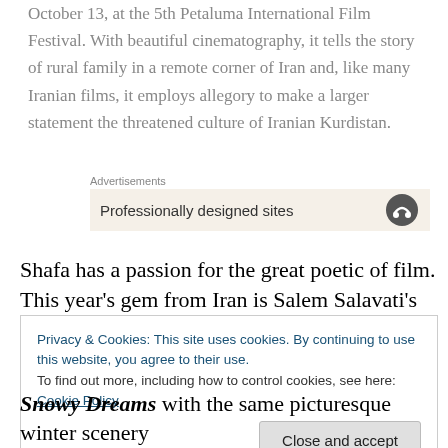October 13, at the 5th Petaluma International Film Festival. With beautiful cinematography, it tells the story of rural family in a remote corner of Iran and, like many Iranian films, it employs allegory to make a larger statement the threatened culture of Iranian Kurdistan.
Advertisements
[Figure (screenshot): Advertisement box with text 'Professionally designed sites' and a circular logo icon on the right, on a beige background]
Shafa has a passion for the great poetic of film.  This year's gem from Iran is Salem Salavati's documentary The
Privacy & Cookies: This site uses cookies. By continuing to use this website, you agree to their use.
To find out more, including how to control cookies, see here: Cookie Policy
Close and accept
Snowy Dreams with the same picturesque winter scenery